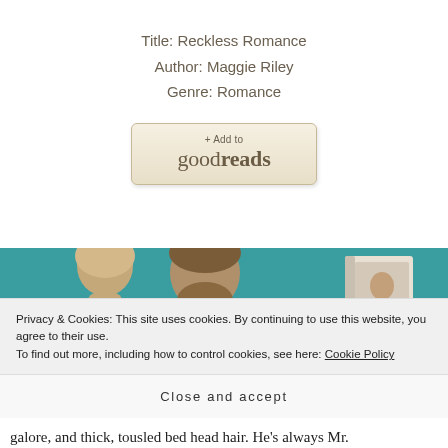Title: Reckless Romance
Author: Maggie Riley
Genre: Romance
[Figure (other): Goodreads 'Add to goodreads' button with beige/tan background and decorative border]
[Figure (photo): Book cover image showing close-up of couple facing each other on teal background, with 3D book mockup on the right]
Privacy & Cookies: This site uses cookies. By continuing to use this website, you agree to their use.
To find out more, including how to control cookies, see here: Cookie Policy
Close and accept
galore, and thick, tousled bed head hair. He's always Mr.